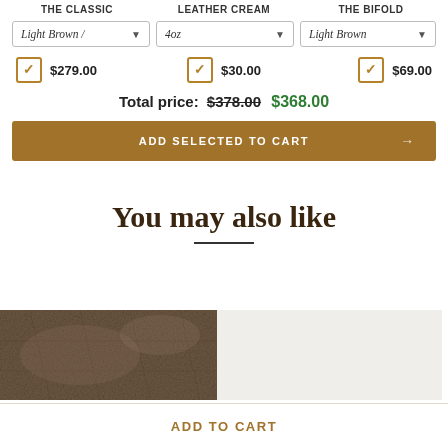THE CLASSIC | LEATHER CREAM | THE BIFOLD
Light Brown / ▾ | 4oz ▾ | Light Brown ▾
✓ $279.00   ✓ $30.00   ✓ $69.00
Total price: $378.00 $368.00
ADD SELECTED TO CART →
You may also like
[Figure (photo): Close-up photo of a textured brown leather wallet surface]
[Figure (photo): Light gray/beige background product placeholder image]
ADD TO CART